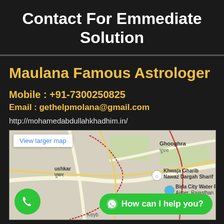Contact For Emmediate Solution
Maulana Famous Astrologer
Mobile : +91-7300250825
Email : gethelpmolana@gmail.com
http://mohamedabdullahkhadhim.in/
[Figure (map): Google map showing area around Pushkar and Ajmer, Rajasthan, India. Shows locations: Ghooghra (घूघरा), Khwaja Gharib Nawaz Dargah Sharif, Birla City Water Park Ajmer Rajasthan. Has 'View larger map' button, phone call button, and WhatsApp 'How can I help you?' chat button.]